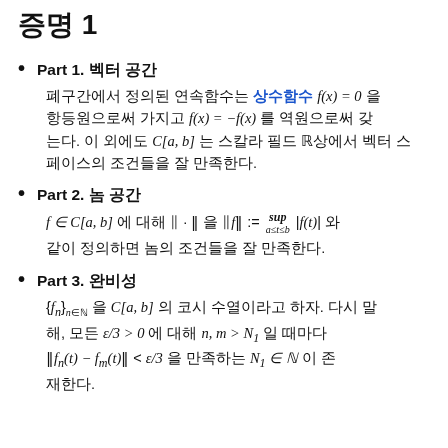증명 1
Part 1. 벡터 공간
폐구간에서 정의된 연속함수는 상수함수 f(x) = 0 을 항등원으로써 가지고 f(x) = −f(x) 를 역원으로써 갖는다. 이 외에도 C[a, b] 는 스칼라 필드 ℝ상에서 벡터 스페이스의 조건들을 잘 만족한다.
Part 2. 놈 공간
f ∈ C[a, b] 에 대해 ‖ · ‖ 을 ‖f‖ := sup_{a≤t≤b} |f(t)| 와 같이 정의하면 놈의 조건들을 잘 만족한다.
Part 3. 완비성
{f_n}_{n∈ℕ} 을 C[a, b] 의 코시 수열이라고 하자. 다시 말해, 모든 ε/3 > 0 에 대해 n, m > N1 일 때마다 ‖f_n(t) − f_m(t)‖ < ε/3 을 만족하는 N1 ∈ ℕ 이 존재한다.